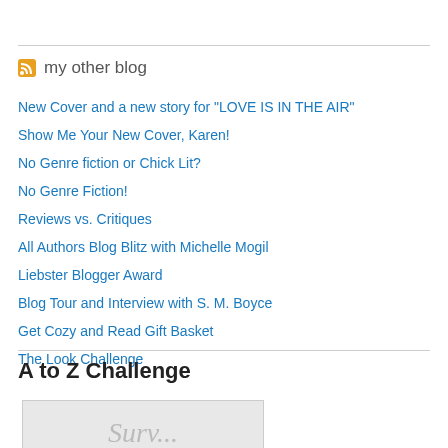my other blog
New Cover and a new story for "LOVE IS IN THE AIR"
Show Me Your New Cover, Karen!
No Genre fiction or Chick Lit?
No Genre Fiction!
Reviews vs. Critiques
All Authors Blog Blitz with Michelle Mogil
Liebster Blogger Award
Blog Tour and Interview with S. M. Boyce
Get Cozy and Read Gift Basket
The Look Challenge
A to Z Challenge
[Figure (other): A to Z Challenge badge/image, partially visible, showing cursive text at the bottom]